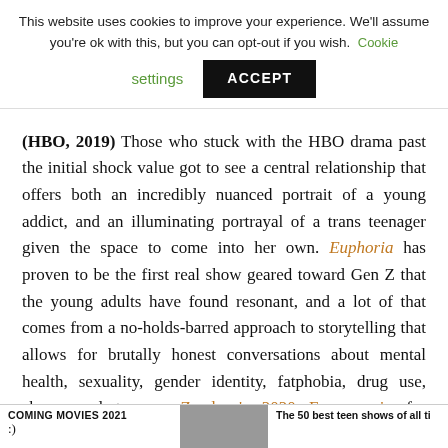This website uses cookies to improve your experience. We'll assume you're ok with this, but you can opt-out if you wish. Cookie settings ACCEPT
(HBO, 2019) Those who stuck with the HBO drama past the initial shock value got to see a central relationship that offers both an incredibly nuanced portrait of a young addict, and an illuminating portrayal of a trans teenager given the space to come into her own. Euphoria has proven to be the first real show geared toward Gen Z that the young adults have found resonant, and a lot of that comes from a no-holds-barred approach to storytelling that allows for brutally honest conversations about mental health, sexuality, gender identity, fatphobia, drug use, abuse, and trauma. Zendaya's 2020 Emmy win for Outstanding Lead Actress in a Drama Series, the first win
COMING MOVIES 2021   The 50 best teen shows of all ti
:)